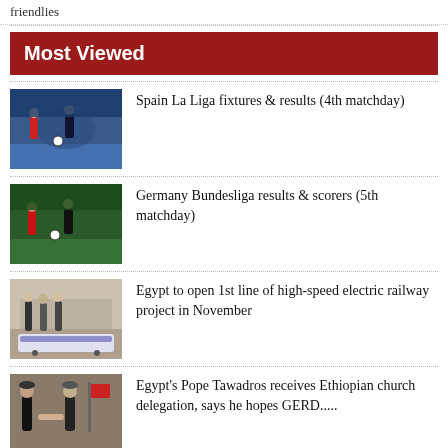friendlies
Most Viewed
Spain La Liga fixtures & results (4th matchday)
Germany Bundesliga results & scorers (5th matchday)
Egypt to open 1st line of high-speed electric railway project in November
Egypt's Pope Tawadros receives Ethiopian church delegation, says he hopes GERD.....
English Premier League results & scorers (6th matchday)